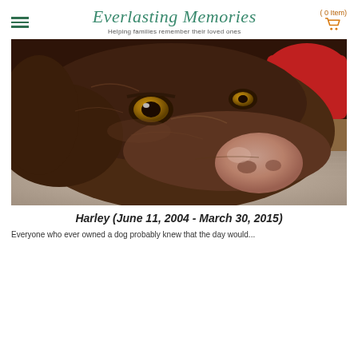Everlasting Memories — Helping families remember their loved ones | ( 0 Item)
[Figure (photo): Close-up photograph of a chocolate Labrador Retriever resting its head on a surface, with soulful amber eyes, lying on what appears to be a carpet, with a red pillow or cloth visible in the background.]
Harley (June 11, 2004 - March 30, 2015)
Everyone who ever owned a dog probably knew that the day would...